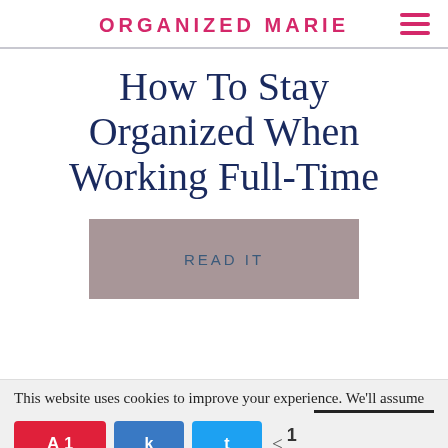ORGANIZED MARIE
How To Stay Organized When Working Full-Time
[Figure (other): Gray rectangular button area with text READ IT]
This website uses cookies to improve your experience. We'll assume
1 SHARES (share buttons: Pin 1, Facebook k, Twitter t)